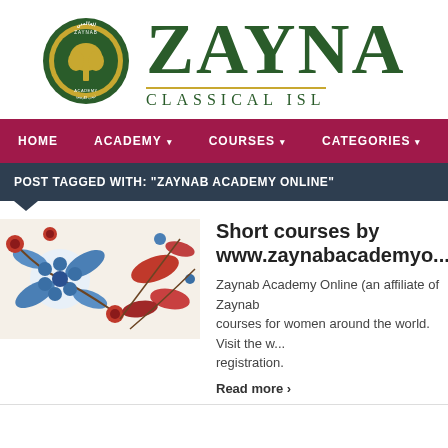[Figure (logo): Zaynab Academy circular logo with green border, golden tree, and Arabic text, alongside the brand name 'ZAYNA' (cut off) and subtitle 'Classical Isl...' (cut off)]
HOME | ACADEMY | COURSES | CATEGORIES | CONTACT
POST TAGGED WITH: "ZAYNAB ACADEMY ONLINE"
[Figure (photo): Turkish/Iznik style ceramic tile art featuring blue flowers, leaves, and birds on white background with red floral accents]
Short courses by www.zaynabacademyo...
Zaynab Academy Online (an affiliate of Zaynab courses for women around the world. Visit the w... registration.
Read more ›